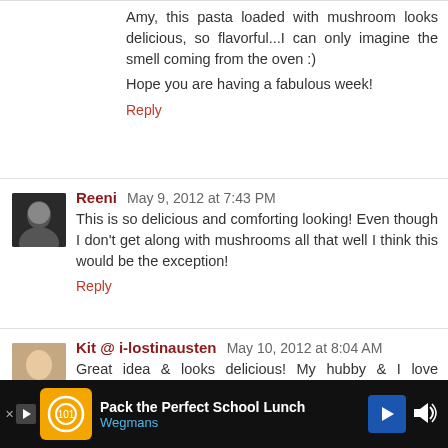Amy, this pasta loaded with mushroom looks delicious, so flavorful...I can only imagine the smell coming from the oven :)
Hope you are having a fabulous week!
Reply
Reeni  May 9, 2012 at 7:43 PM
This is so delicious and comforting looking! Even though I don't get along with mushrooms all that well I think this would be the exception!
Reply
Kit @ i-lostinausten  May 10, 2012 at 8:04 AM
Great idea & looks delicious! My hubby & I love mushrooms but not our boys. But they are willing to try some new recipe with mushrooms! May be they'll love this
[Figure (infographic): Advertisement banner at bottom: orange icon with circular logo, text 'Pack the Perfect School Lunch', Wegmans brand, blue directional arrow, dark background with audio icon]